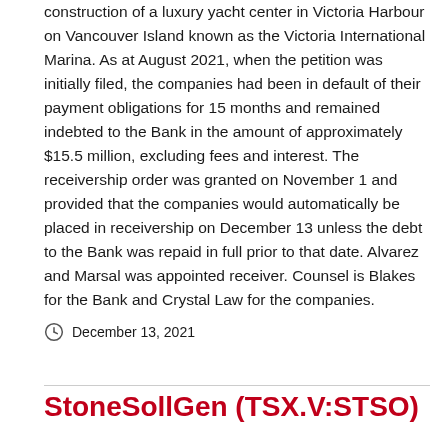construction of a luxury yacht center in Victoria Harbour on Vancouver Island known as the Victoria International Marina. As at August 2021, when the petition was initially filed, the companies had been in default of their payment obligations for 15 months and remained indebted to the Bank in the amount of approximately $15.5 million, excluding fees and interest. The receivership order was granted on November 1 and provided that the companies would automatically be placed in receivership on December 13 unless the debt to the Bank was repaid in full prior to that date. Alvarez and Marsal was appointed receiver. Counsel is Blakes for the Bank and Crystal Law for the companies.
December 13, 2021
StoneSollGen (TSX.V:STSO)